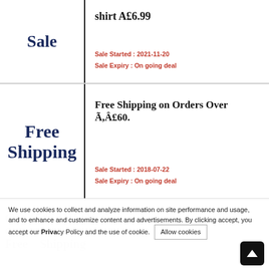Sale
shirt A£6.99
Sale Started : 2021-11-20
Sale Expiry : On going deal
Free Shipping
Free Shipping on Orders Over Ã,Â£60.
Sale Started : 2018-07-22
Sale Expiry : On going deal
We use cookies to collect and analyze information on site performance and usage, and to enhance and customize content and advertisements. By clicking accept, you accept our Privacy Policy and the use of cookie.
Allow cookies